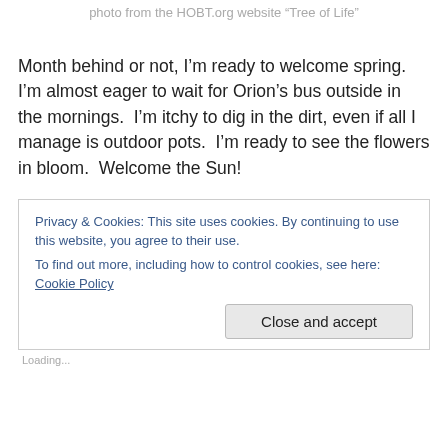photo from the HOBT.org website “Tree of Life”
Month behind or not, I’m ready to welcome spring.  I’m almost eager to wait for Orion’s bus outside in the mornings.  I’m itchy to dig in the dirt, even if all I manage is outdoor pots.  I’m ready to see the flowers in bloom.  Welcome the Sun!
Privacy & Cookies: This site uses cookies. By continuing to use this website, you agree to their use.
To find out more, including how to control cookies, see here: Cookie Policy
Loading...